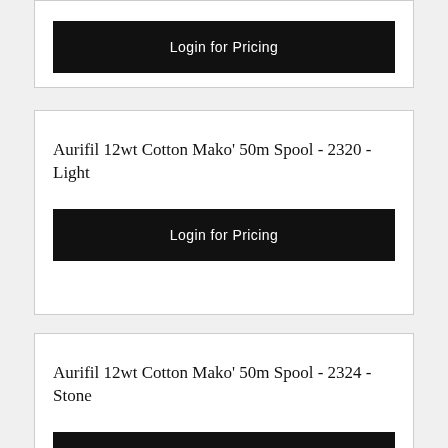Login for Pricing
Aurifil 12wt Cotton Mako' 50m Spool - 2320 - Light
Login for Pricing
Aurifil 12wt Cotton Mako' 50m Spool - 2324 - Stone
Login for Pricing
Aurifil 12wt Cotton Mako' 50m Spool - 2325 - Linen